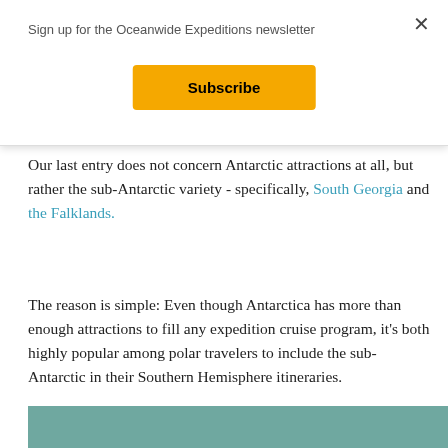Sign up for the Oceanwide Expeditions newsletter
Subscribe
Our last entry does not concern Antarctic attractions at all, but rather the sub-Antarctic variety - specifically, South Georgia and the Falklands.
The reason is simple: Even though Antarctica has more than enough attractions to fill any expedition cruise program, it's both highly popular among polar travelers to include the sub-Antarctic in their Southern Hemisphere itineraries.
[Figure (photo): Partial view of a teal/grey ocean or water scene at bottom of page]